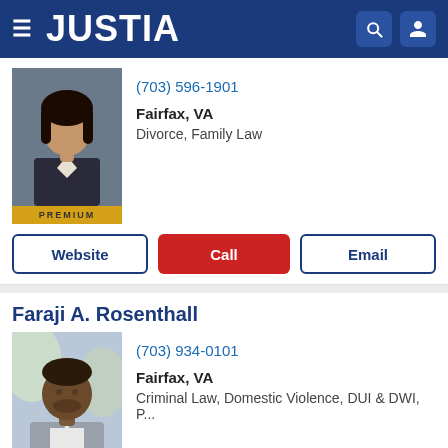JUSTIA
(703) 596-1901
Fairfax, VA
Divorce, Family Law
Website | Call | Email
Faraji A. Rosenthall
(703) 934-0101
Fairfax, VA
Criminal Law, Domestic Violence, DUI & DWI, P...
Website | Call | Email